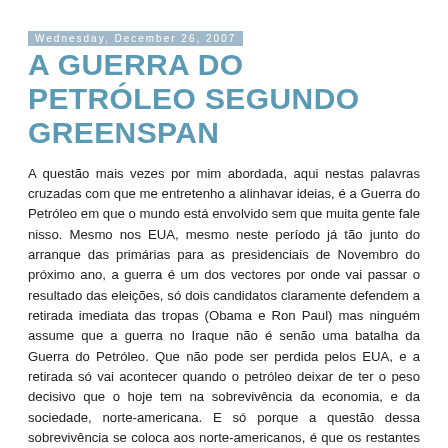Wednesday, December 26, 2007
A GUERRA DO PETRÓLEO SEGUNDO GREENSPAN
A questão mais vezes por mim abordada, aqui nestas palavras cruzadas com que me entretenho a alinhavar ideias, é a Guerra do Petróleo em que o mundo está envolvido sem que muita gente fale nisso. Mesmo nos EUA, mesmo neste período já tão junto do arranque das primárias para as presidenciais de Novembro do próximo ano, a guerra é um dos vectores por onde vai passar o resultado das eleições, só dois candidatos claramente defendem a retirada imediata das tropas (Obama e Ron Paul) mas ninguém assume que a guerra no Iraque não é senão uma batalha da Guerra do Petróleo. Que não pode ser perdida pelos EUA, e a retirada só vai acontecer quando o petróleo deixar de ter o peso decisivo que o hoje tem na sobrevivência da economia, e da sociedade, norte-americana. E só porque a questão dessa sobrevivência se coloca aos norte-americanos, é que os restantes povos, tão